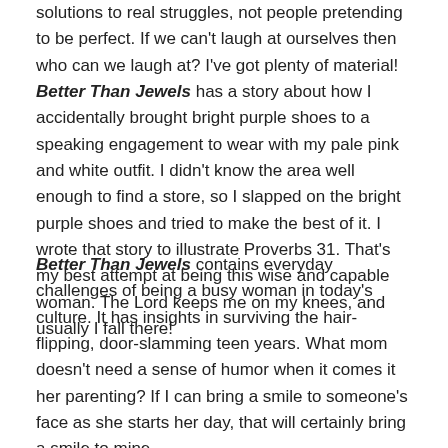solutions to real struggles, not people pretending to be perfect. If we can't laugh at ourselves then who can we laugh at? I've got plenty of material! Better Than Jewels has a story about how I accidentally brought bright purple shoes to a speaking engagement to wear with my pale pink and white outfit. I didn't know the area well enough to find a store, so I slapped on the bright purple shoes and tried to make the best of it. I wrote that story to illustrate Proverbs 31. That's my best attempt at being this wise and capable woman. The Lord keeps me on my knees, and usually I fall there!
Better Than Jewels contains everyday challenges of being a busy woman in today's culture. It has insights in surviving the hair-flipping, door-slamming teen years. What mom doesn't need a sense of humor when it comes it her parenting? If I can bring a smile to someone's face as she starts her day, that will certainly bring a smile to mine.